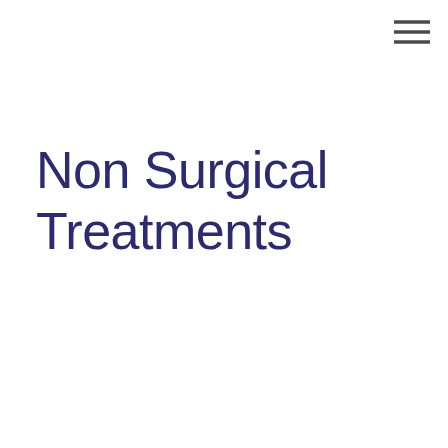[Figure (other): Hamburger menu icon (three horizontal lines) in dark gray, positioned in the top-right corner]
Non Surgical Treatments